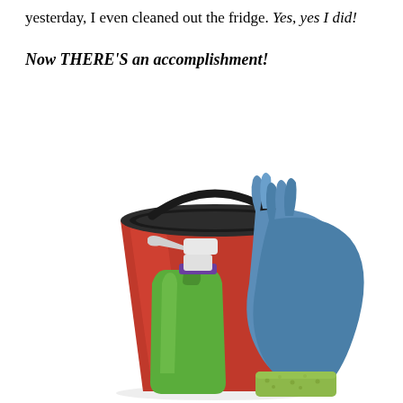yesterday, I even cleaned out the fridge. Yes, yes I did!

Now THERE'S an accomplishment!
[Figure (photo): A red cleaning bucket with a dark rim and handle, a green spray bottle, blue rubber gloves draped over the bucket, and a green sponge in front, all on a white background.]